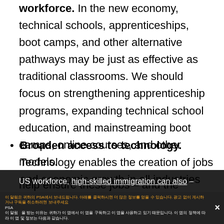workforce. In the new economy, technical schools, apprenticeships, boot camps, and other alternative pathways may be just as effective as traditional classrooms. We should focus on strengthening apprenticeship programs, expanding technical school education, and mainstreaming boot camps, online courses, and other models.
Broaden access to technology. Technology enables the creation of jobs and economic growth in all industries and in all parts of the country. We should focus on achieving universal broadband access and ensuring access to technology in the classroom.
Promote responsible immigration policy. In addition to improved education and training for the US workforce, high-skilled immigration can also help ensure these jobs – and the innovation they